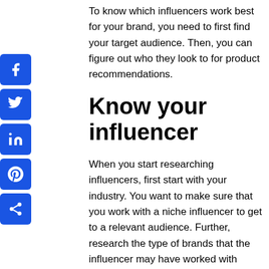To know which influencers work best for your brand, you need to first find your target audience. Then, you can figure out who they look to for product recommendations.
[Figure (illustration): Vertical sidebar with five social media share icons (Facebook, Twitter, LinkedIn, Pinterest, Share) in blue rounded square buttons]
Know your influencer
When you start researching influencers, first start with your industry. You want to make sure that you work with a niche influencer to get to a relevant audience. Further, research the type of brands that the influencer may have worked with before, as you want a follower...